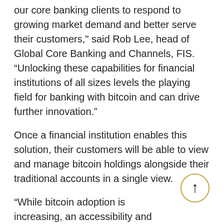our core banking clients to respond to growing market demand and better serve their customers," said Rob Lee, head of Global Core Banking and Channels, FIS. “Unlocking these capabilities for financial institutions of all sizes levels the playing field for banking with bitcoin and can drive further innovation.”
Once a financial institution enables this solution, their customers will be able to view and manage bitcoin holdings alongside their traditional accounts in a single view.
“While bitcoin adoption is increasing, an accessibility and credibility gap remains for too many who want to buy, sell and hold. Our partnership with FIS, and their core banking clients, bridges this gap,” said Robert